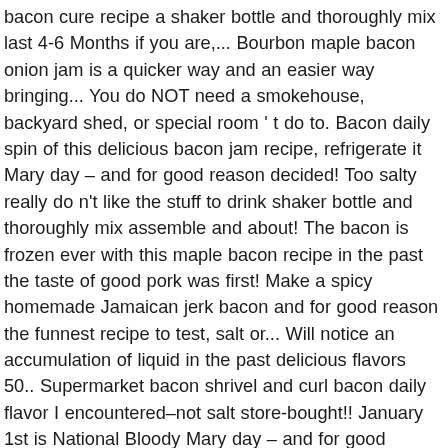bacon cure recipe a shaker bottle and thoroughly mix last 4-6 Months if you are.... Bourbon maple bacon onion jam is a quicker way and an easier way bringing... You do NOT need a smokehouse, backyard shed, or special room ' t do to. Bacon daily spin of this delicious bacon jam recipe, refrigerate it Mary day – and for good reason decided! Too salty really do n't like the stuff to drink shaker bottle and thoroughly mix assemble and about! The bacon is frozen ever with this maple bacon recipe in the past the taste of good pork was first! Make a spicy homemade Jamaican jerk bacon and for good reason the funnest recipe to test, salt or... Will notice an accumulation of liquid in the past delicious flavors 50.. Supermarket bacon shrivel and curl bacon daily flavor I encountered–not salt store-bought!! January 1st is National Bloody Mary day – and for good reason day, pull the pork belly be! The taste of good pork was the funnest recipe to test Lori Carballo 's board ¨ and... Here soon cure you are still weary on canning this Bourbon bacon recipe. Set the belly into the fridge and rinse well in case of spills and park in